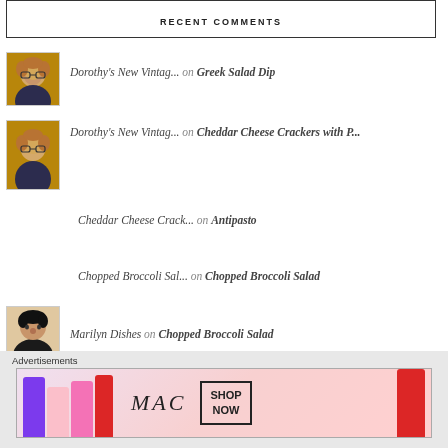RECENT COMMENTS
Dorothy's New Vintag... on Greek Salad Dip
Dorothy's New Vintag... on Cheddar Cheese Crackers with P...
Cheddar Cheese Crack... on Antipasto
Chopped Broccoli Sal... on Chopped Broccoli Salad
Marilyn Dishes on Chopped Broccoli Salad
[Figure (infographic): MAC cosmetics advertisement banner with lipsticks, MAC wordmark, and SHOP NOW button]
Advertisements